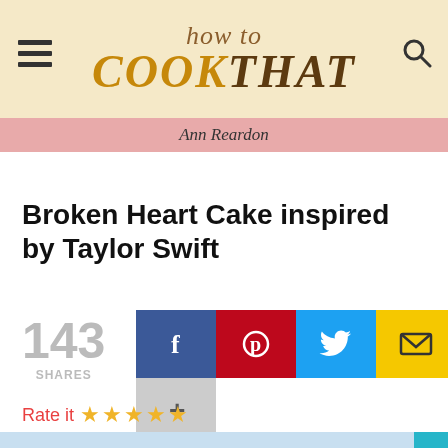how to COOK THAT — Ann Reardon
Broken Heart Cake inspired by Taylor Swift
143 SHARES
[Figure (screenshot): Social share buttons: Facebook, Pinterest, Twitter, Email, and a plus/more button]
Rate it ★★★★★
[Figure (photo): Bottom strip showing a cake with pearl decorations on a light blue background]